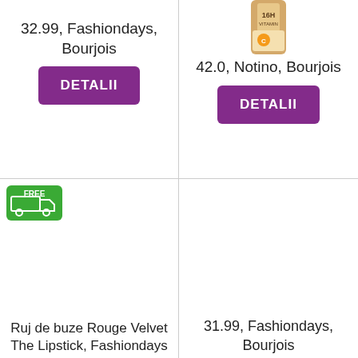32.99, Fashiondays, Bourjois
DETALII
[Figure (photo): Product bottle image top portion visible, Bourjois foundation with 16H and Vitamin text visible]
42.0, Notino, Bourjois
DETALII
[Figure (illustration): Green free shipping badge with truck icon and FREE text]
Ruj de buze Rouge Velvet The Lipstick, Fashiondays
31.99, Fashiondays, Bourjois